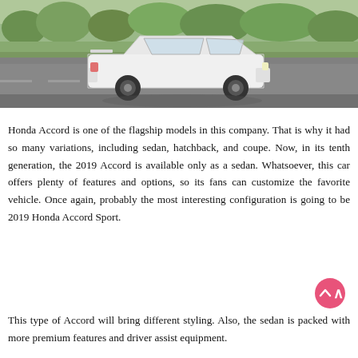[Figure (photo): A white Honda Accord Sport sedan driving on a road, photographed from the rear-left angle. Green grass and trees are visible in the background.]
Honda Accord is one of the flagship models in this company. That is why it had so many variations, including sedan, hatchback, and coupe. Now, in its tenth generation, the 2019 Accord is available only as a sedan. Whatsoever, this car offers plenty of features and options, so its fans can customize the favorite vehicle. Once again, probably the most interesting configuration is going to be 2019 Honda Accord Sport.
This type of Accord will bring different styling. Also, the sedan is packed with more premium features and driver assist equipment.